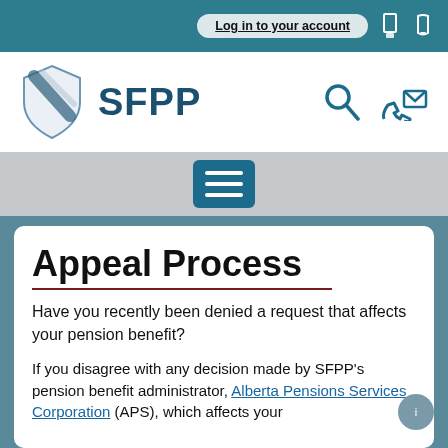Log in to your account
[Figure (logo): SFPP shield logo with search and contact icons]
[Figure (other): Navigation menu bar with hamburger menu button]
Appeal Process
Have you recently been denied a request that affects your pension benefit?
If you disagree with any decision made by SFPP's pension benefit administrator, Alberta Pensions Services Corporation (APS), which affects your